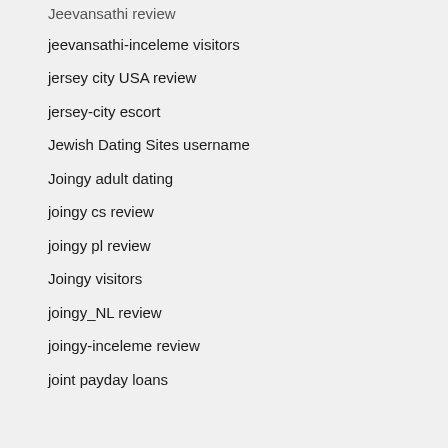Jeevansathi review
jeevansathi-inceleme visitors
jersey city USA review
jersey-city escort
Jewish Dating Sites username
Joingy adult dating
joingy cs review
joingy pl review
Joingy visitors
joingy_NL review
joingy-inceleme review
joint payday loans